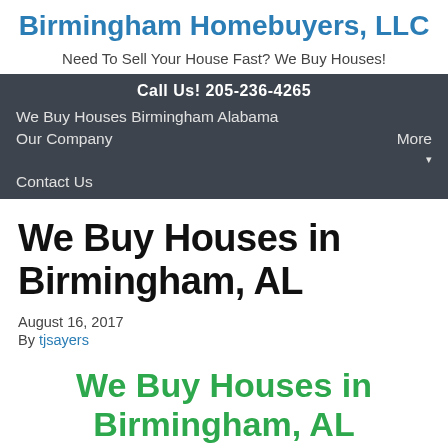Birmingham Homebuyers, LLC
Need To Sell Your House Fast? We Buy Houses!
Call Us! 205-236-4265
We Buy Houses Birmingham Alabama    Our Company    More ▾
Contact Us
We Buy Houses in Birmingham, AL
August 16, 2017
By tjsayers
We Buy Houses in Birmingham, AL